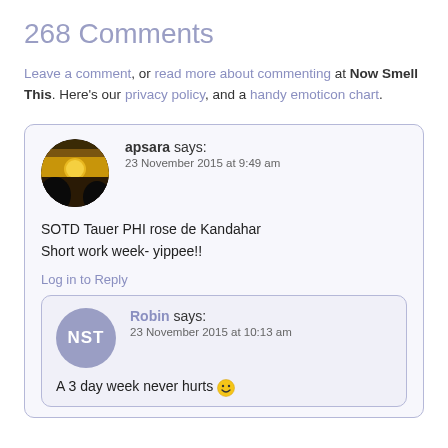268 Comments
Leave a comment, or read more about commenting at Now Smell This. Here's our privacy policy, and a handy emoticon chart.
apsara says:
23 November 2015 at 9:49 am
SOTD Tauer PHI rose de Kandahar
Short work week- yippee!!
Log in to Reply
Robin says:
23 November 2015 at 10:13 am
A 3 day week never hurts 😀